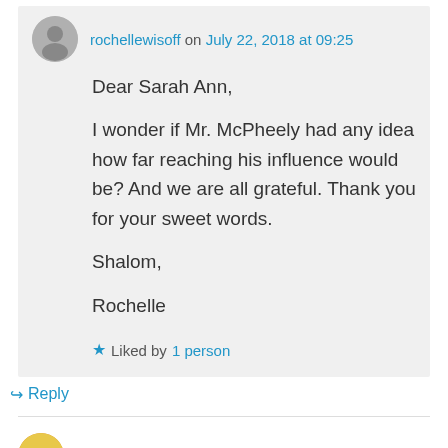rochellewisoff on July 22, 2018 at 09:25
Dear Sarah Ann,

I wonder if Mr. McPheely had any idea how far reaching his influence would be? And we are all grateful. Thank you for your sweet words.

Shalom,

Rochelle
Liked by 1 person
Reply
syncwithdeep on July 20, 2018 at 09:59
A beautiful story with a touch of nostalgia, lovely